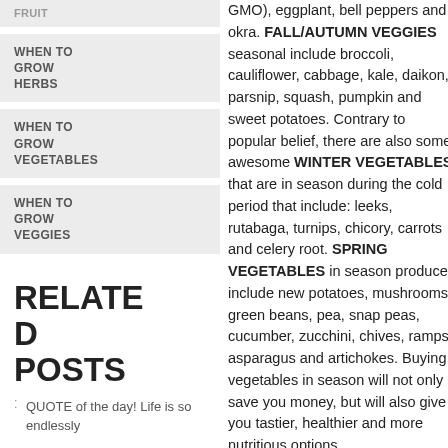WHEN TO GROW HERBS
WHEN TO GROW VEGETABLES
WHEN TO GROW VEGGIES
RELATED POSTS
QUOTE of the day! Life is so endlessly
GMO), eggplant, bell peppers and okra. FALL/AUTUMN VEGGIES seasonal include broccoli, cauliflower, cabbage, kale, daikon, parsnip, squash, pumpkin and sweet potatoes. Contrary to popular belief, there are also some awesome WINTER VEGETABLES that are in season during the cold period that include: leeks, rutabaga, turnips, chicory, carrots and celery root. SPRING VEGETABLES in season produce include new potatoes, mushrooms, green beans, pea, snap peas, cucumber, zucchini, chives, ramps, asparagus and artichokes. Buying vegetables in season will not only save you money, but will also give you tastier, healthier and more nutritious options.